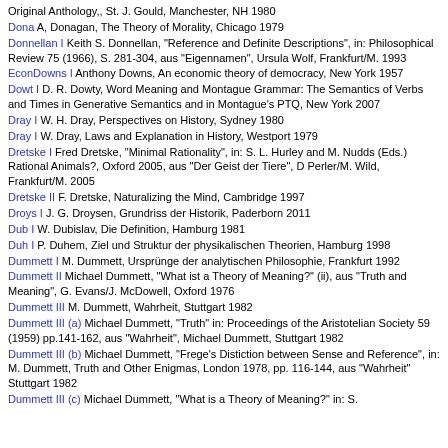Original Anthology,, St. J. Gould, Manchester, NH 1980
Dona A, Donagan, The Theory of Morality, Chicago 1979
Donnellan I Keith S. Donnellan, "Reference and Definite Descriptions", in: Philosophical Review 75 (1966), S. 281-304, aus "Eigennamen", Ursula Wolf, Frankfurt/M. 1993
EconDowns I Anthony Downs, An economic theory of democracy, New York 1957
Dowt I D. R. Dowty, Word Meaning and Montague Grammar: The Semantics of Verbs and Times in Generative Semantics and in Montague's PTQ, New York 2007
Dray I W. H. Dray, Perspectives on History, Sydney 1980
Dray I W. Dray, Laws and Explanation in History, Westport 1979
Dretske I Fred Dretske, "Minimal Rationality", in: S. L. Hurley and M. Nudds (Eds.) Rational Animals?, Oxford 2005, aus "Der Geist der Tiere", D Perler/M. Wild, Frankfurt/M. 2005
Dretske II F. Dretske, Naturalizing the Mind, Cambridge 1997
Droys I J. G. Droysen, Grundriss der Historik, Paderborn 2011
Dub I W. Dubislav, Die Definition, Hamburg 1981
Duh I P. Duhem, Ziel und Struktur der physikalischen Theorien, Hamburg 1998
Dummett I M. Dummett, Ursprünge der analytischen Philosophie, Frankfurt 1992
Dummett II Michael Dummett, "What ist a Theory of Meaning?" (ii), aus "Truth and Meaning", G. Evans/J. McDowell, Oxford 1976
Dummett III M. Dummett, Wahrheit, Stuttgart 1982
Dummett III (a) Michael Dummett, "Truth" in: Proceedings of the Aristotelian Society 59 (1959) pp.141-162, aus "Wahrheit", Michael Dummett, Stuttgart 1982
Dummett III (b) Michael Dummett, "Frege's Distiction between Sense and Reference", in: M. Dummett, Truth and Other Enigmas, London 1978, pp. 116-144, aus "Wahrheit" Stuttgart 1982
Dummett III (c) Michael Dummett, "What is a Theory of Meaning?" in: S.